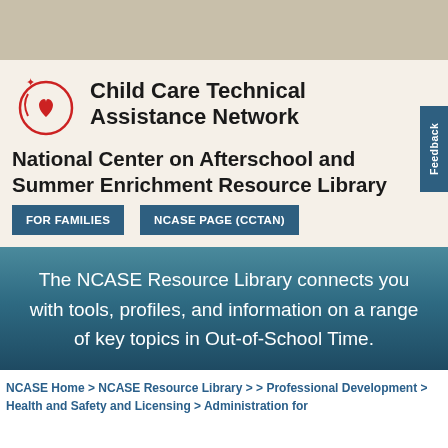[Figure (logo): Child Care Technical Assistance Network logo with red heart and circular design]
Child Care Technical Assistance Network
National Center on Afterschool and Summer Enrichment Resource Library
FOR FAMILIES
NCASE PAGE (CCTAN)
The NCASE Resource Library connects you with tools, profiles, and information on a range of key topics in Out-of-School Time.
NCASE Home > NCASE Resource Library > > Professional Development > Health and Safety and Licensing > Administration for